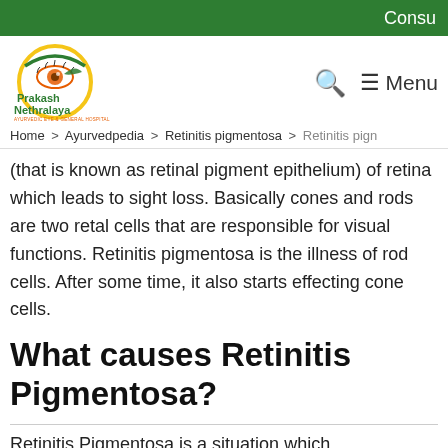Consu
[Figure (logo): Prakash Nethralaya Ayurvedic Eye & General Hospital logo — circular yellow and green border with an eye illustration]
Search  ☰ Menu
Home > Ayurvedpedia > Retinitis pigmentosa > Retinitis pign
(that is known as retinal pigment epithelium) of retina which leads to sight loss. Basically cones and rods are two retal cells that are responsible for visual functions. Retinitis pigmentosa is the illness of rod cells. After some time, it also starts effecting cone cells.
What causes Retinitis Pigmentosa?
Retinitis Pigmentosa is a situation which